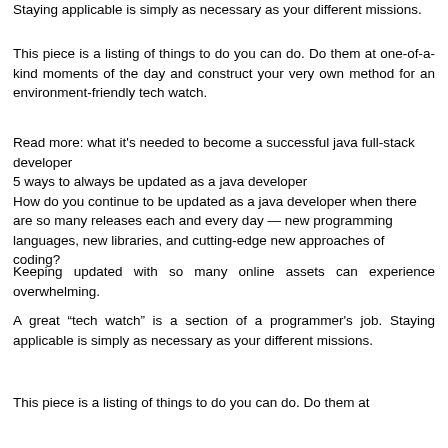Staying applicable is simply as necessary as your different missions.
This piece is a listing of things to do you can do. Do them at one-of-a-kind moments of the day and construct your very own method for an environment-friendly tech watch.
Read more: what it's needed to become a successful java full-stack developer
5 ways to always be updated as a java developer
How do you continue to be updated as a java developer when there are so many releases each and every day — new programming languages, new libraries, and cutting-edge new approaches of coding?
Keeping updated with so many online assets can experience overwhelming.
A great “tech watch” is a section of a programmer's job. Staying applicable is simply as necessary as your different missions.
This piece is a listing of things to do you can do. Do them at